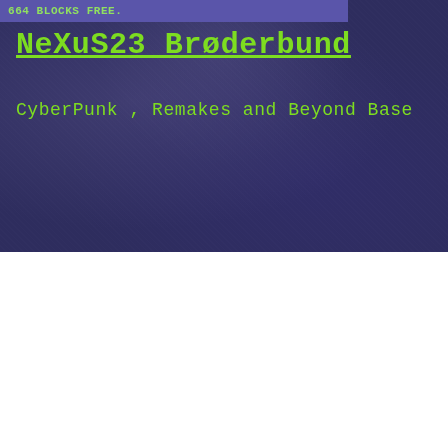664 BLOCKS FREE.
NeXuS23 Brøderbund
CyberPunk , Remakes and Beyond Base
We use cookies on our website to give you the most relevant experience by remembering your preferences and repeat visits. By clicking “Accept”, you consent to the use of ALL the cookies.
Do not sell my personal information.